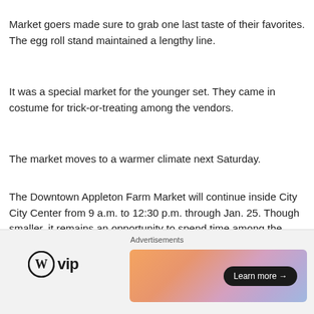Market goers made sure to grab one last taste of their favorites. The egg roll stand maintained a lengthy line.
It was a special market for the younger set. They came in costume for trick-or-treating among the vendors.
The market moves to a warmer climate next Saturday.
The Downtown Appleton Farm Market will continue inside City City Center from 9 a.m. to 12:30 p.m. through Jan. 25. Though smaller, it remains an opportunity to spend time among the community, load up on local produce, enjoy some treats and peruse arts and crafts.
Shoppers can expect familiar favorites as well as some new vendors
[Figure (other): Advertisement banner showing WordPress VIP logo on the left and a colorful gradient banner with 'Learn more' button on the right, labeled 'Advertisements' at the top.]